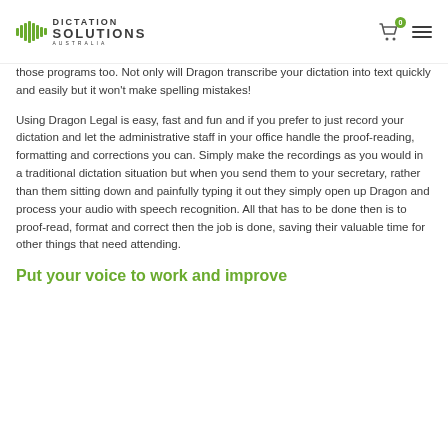Dictation Solutions Australia
those programs too. Not only will Dragon transcribe your dictation into text quickly and easily but it won't make spelling mistakes!
Using Dragon Legal is easy, fast and fun and if you prefer to just record your dictation and let the administrative staff in your office handle the proof-reading, formatting and corrections you can. Simply make the recordings as you would in a traditional dictation situation but when you send them to your secretary, rather than them sitting down and painfully typing it out they simply open up Dragon and process your audio with speech recognition. All that has to be done then is to proof-read, format and correct then the job is done, saving their valuable time for other things that need attending.
Put your voice to work and improve